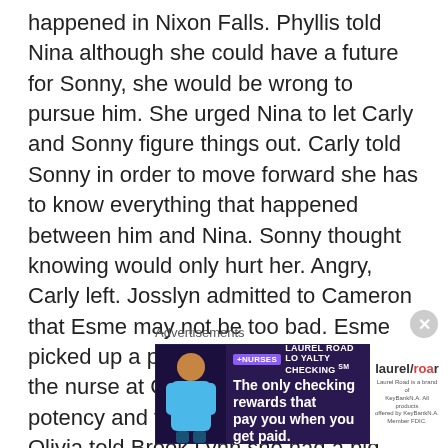happened in Nixon Falls. Phyllis told Nina although she could have a future for Sonny, she would be wrong to pursue him. She urged Nina to let Carly and Sonny figure things out. Carly told Sonny in order to move forward she has to know everything that happened between him and Nina. Sonny thought knowing would only hurt her. Angry, Carly left. Josslyn admitted to Cameron that Esme may not be too bad. Esme picked up a prescription and assured the nurse at GH she was aware of its potency and familiar how to use it. Olivia told Brook Lynn she had a big heart. Sonny thought about Nixon Falls after The Tan-o fire when he was in the ER after regaining his memory of how Nina said she loved him. Carly barged into Nina's office for a confrontation and told Ms. Reeves she'd be missing her
Advertisements
[Figure (other): Advertisement banner for Laurel Road Loyalty Checking with +Nurses badge, tagline 'The only checking rewards that pay you when you get paid.' and Laurel Road logo on the right with small disclaimer text.]